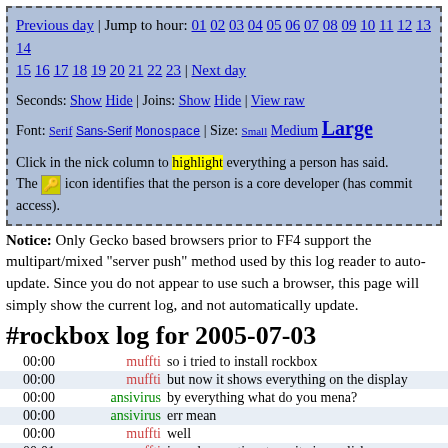Previous day | Jump to hour: 01 02 03 04 05 06 07 08 09 10 11 12 13 14 15 16 17 18 19 20 21 22 23 | Next day
Seconds: Show Hide | Joins: Show Hide | View raw
Font: Serif Sans-Serif Monospace | Size: Small Medium Large
Click in the nick column to highlight everything a person has said. The [key icon] icon identifies that the person is a core developer (has commit access).
Notice: Only Gecko based browsers prior to FF4 support the multipart/mixed "server push" method used by this log reader to auto-update. Since you do not appear to use such a browser, this page will simply show the current log, and not automatically update.
#rockbox log for 2005-07-03
| time | nick | message |
| --- | --- | --- |
| 00:00 | muffti | so i tried to install rockbox |
| 00:00 | muffti | but now it shows everything on the display |
| 00:00 | ansivirus | by everything what do you mena? |
| 00:00 | ansivirus | err mean |
| 00:00 | muffti | well |
| 00:01 | muffti | i need some time to write in english, sorry |
| 00:01 | ansivirus | like dir listing etc.? |
| 00:01 | muffti | no, everything the display is able to display |
| 00:01 | muffti | black boxes instead of letters |